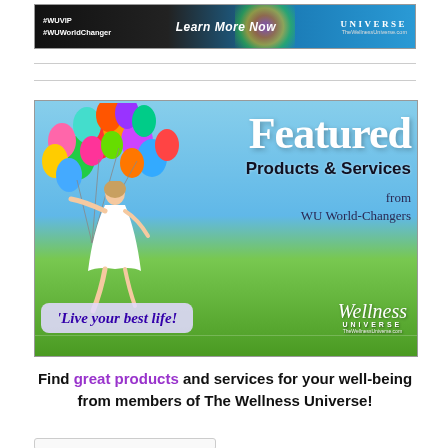[Figure (illustration): Top banner advertisement with dark background showing #WUVIP #WUWorldChanger text on left, 'Learn More Now' in center, and Wellness Universe logo on right with colorful floral image]
[Figure (illustration): Large featured banner showing woman in white dress holding colorful balloons against blue sky and green field. Text overlay reads 'Featured Products & Services from WU World-Changers' and 'Live your best life!' with Wellness Universe logo]
Find great products and services for your well-being from members of The Wellness Universe!